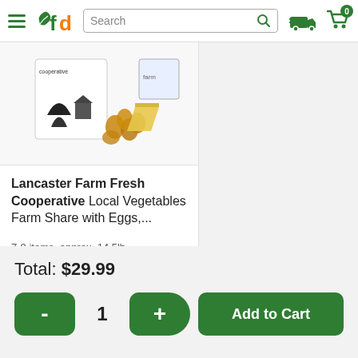fd Search [cart: 0]
[Figure (photo): Product image: Lancaster Farm Fresh Cooperative box with eggs and cheese on a white background]
Lancaster Farm Fresh Cooperative Local Vegetables Farm Share with Eggs,...
7-9 items, approx. 14.5lb
$44.99/ea
Total: $29.99
- 1 + Add to Cart